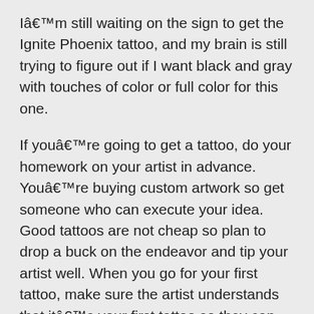I’m still waiting on the sign to get the Ignite Phoenix tattoo, and my brain is still trying to figure out if I want black and gray with touches of color or full color for this one.
If you’re going to get a tattoo, do your homework on your artist in advance. You’re buying custom artwork so get someone who can execute your idea. Good tattoos are not cheap so plan to drop a buck on the endeavor and tip your artist well. When you go for your first tattoo, make sure the artist understands that it’s your first tattoo so they can walk you through everything that’s going to happen. My artist offered to do the first little line without ink just so I could experience how it feels, which I declined but I appreciated the thought.
And yes, getting a tattoo hurts, especially when